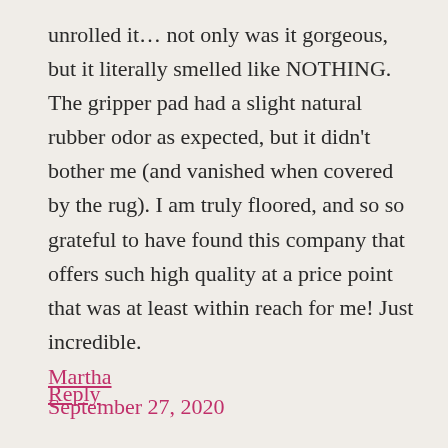unrolled it… not only was it gorgeous, but it literally smelled like NOTHING. The gripper pad had a slight natural rubber odor as expected, but it didn't bother me (and vanished when covered by the rug). I am truly floored, and so so grateful to have found this company that offers such high quality at a price point that was at least within reach for me! Just incredible.
Reply
Martha
September 27, 2020